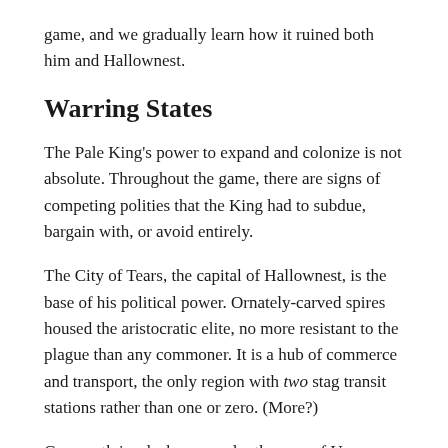game, and we gradually learn how it ruined both him and Hallownest.
Warring States
The Pale King's power to expand and colonize is not absolute. Throughout the game, there are signs of competing polities that the King had to subdue, bargain with, or avoid entirely.
The City of Tears, the capital of Hallownest, is the base of his political power. Ornately-carved spires housed the aristocratic elite, no more resistant to the plague than any commoner. It is a hub of commerce and transport, the only region with two stag transit stations rather than one or zero. (More?)
Greenpath is a lush area under the care of Unn, an immense slug-god of verdant nature. She is also a